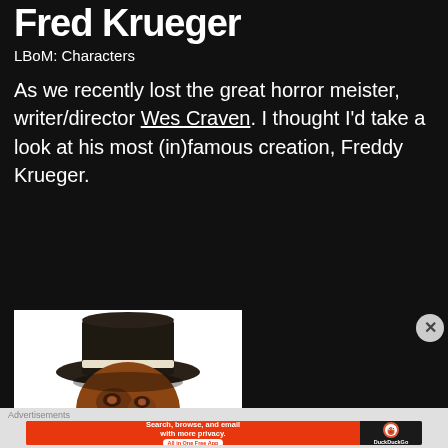Fred Krueger
LBoM: Characters
As we recently lost the great horror meister, writer/director Wes Craven. I thought I'd take a look at his most (in)famous creation, Freddy Krueger.
[Figure (photo): Photo of Freddy Krueger character wearing a dark fedora hat, showing burned scarred face, smiling menacingly, against a white background]
Advertisements
[Figure (infographic): DuckDuckGo advertisement banner: orange left panel reading 'Search, browse, and email with more privacy. All in One Free App' and black right panel with DuckDuckGo duck logo and DuckDuckGo text]